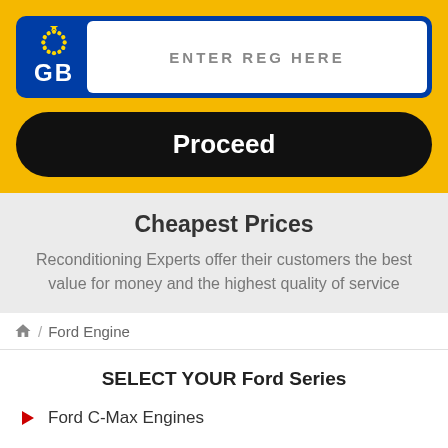[Figure (screenshot): UK vehicle registration plate input field with blue EU/GB section on left showing stars and GB text, white input area with text ENTER REG HERE]
Proceed
Cheapest Prices
Reconditioning Experts offer their customers the best value for money and the highest quality of service
Ford Engine
SELECT YOUR Ford Series
Ford C-Max Engines